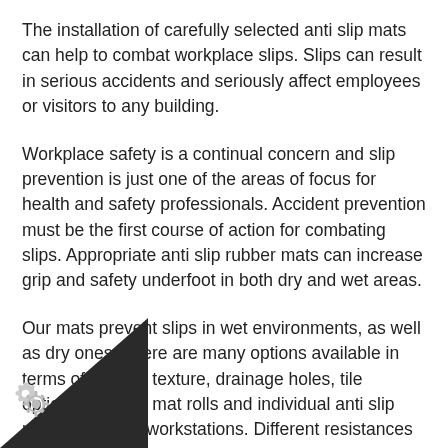The installation of carefully selected anti slip mats can help to combat workplace slips. Slips can result in serious accidents and seriously affect employees or visitors to any building.
Workplace safety is a continual concern and slip prevention is just one of the areas of focus for health and safety professionals. Accident prevention must be the first course of action for combating slips. Appropriate anti slip rubber mats can increase grip and safety underfoot in both dry and wet areas.
Our mats prevent slips in wet environments, as well as dry ones. There are many options available in terms of surface texture, drainage holes, tile options, anti slip mat rolls and individual anti slip mats – ideal for workstations. Different resistances are also available to meet different